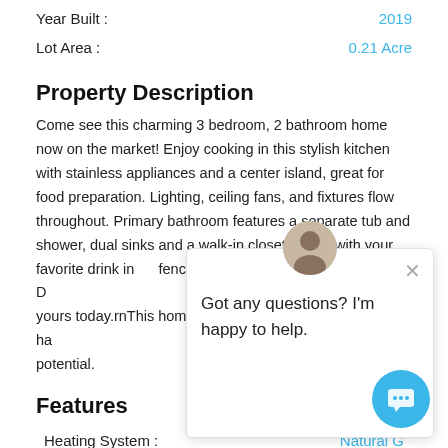Year Built : 2019
Lot Area : 0.21 Acre
Property Description
Come see this charming 3 bedroom, 2 bathroom home now on the market! Enjoy cooking in this stylish kitchen with stainless appliances and a center island, great for food preparation. Lighting, ceiling fans, and fixtures flow throughout. Primary bathroom features a separate tub and shower, dual sinks and a walk-in closet. Relax with your favorite drink in fenced in backyard with lush grass. D yours today.rnThis home ha potential.
Features
Heating System : Natural G
Roof Deck : Composition